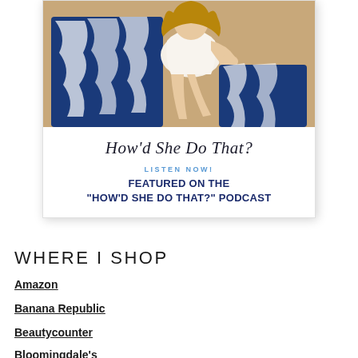[Figure (photo): Podcast cover image showing a woman seated in a blue and white zebra-print chair, with cursive script text 'How'd She Do That?' below the photo, and text 'LISTEN NOW! FEATURED ON THE "HOW'D SHE DO THAT?" PODCAST' displayed on a white card]
WHERE I SHOP
Amazon
Banana Republic
Beautycounter
Bloomingdale's